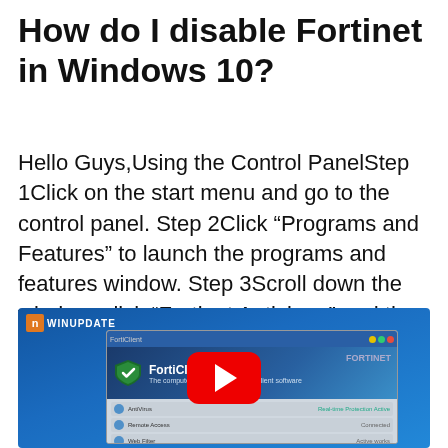How do I disable Fortinet in Windows 10?
Hello Guys,Using the Control PanelStep 1Click on the start menu and go to the control panel. Step 2Click “Programs and Features” to launch the programs and features window. Step 3Scroll down the window, click “Fortinet Antivirus,” and then click the uninstall button.
[Figure (screenshot): A YouTube video thumbnail showing a FortiClient antivirus software window on a Windows desktop with a WinUpdate logo overlay and a red YouTube play button in the center.]